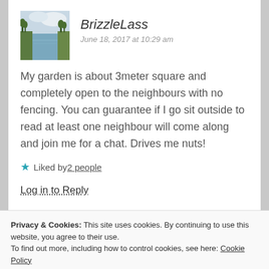[Figure (photo): Avatar image showing a canal or river landscape with sky]
BrizzleLass
June 18, 2017 at 10:29 am
My garden is about 3meter square and completely open to the neighbours with no fencing. You can guarantee if I go sit outside to read at least one neighbour will come along and join me for a chat. Drives me nuts!
★ Liked by 2 people
Log in to Reply
Privacy & Cookies: This site uses cookies. By continuing to use this website, you agree to their use.
To find out more, including how to control cookies, see here: Cookie Policy
Close and accept
absolutely crazy! Can you not put up